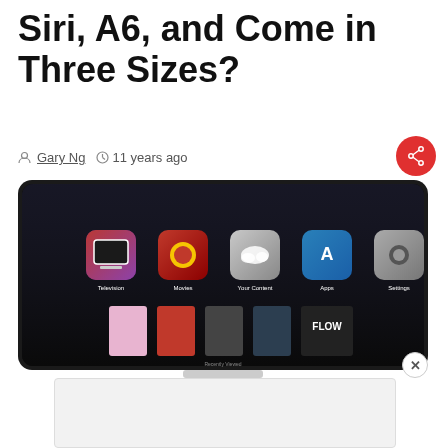Siri, A6, and Come in Three Sizes?
Gary Ng   11 years ago
[Figure (screenshot): A concept rendering of an Apple iTV smart television displaying a dark app interface with icons for Television, Movies, Your Content, Apps, and Settings, along with movie poster thumbnails below. The TV has a silver stand and a sleek monitor-style design.]
[Figure (other): A light gray advertisement placeholder box at the bottom of the page with a close (X) button in the upper right corner.]